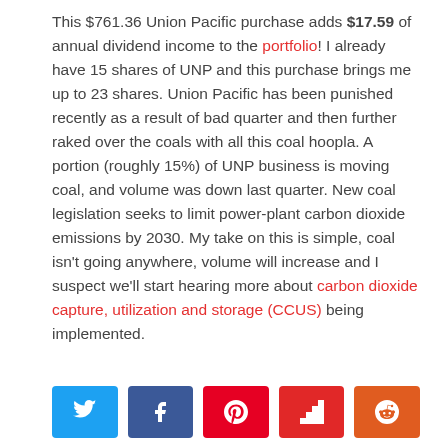This $761.36 Union Pacific purchase adds $17.59 of annual dividend income to the portfolio! I already have 15 shares of UNP and this purchase brings me up to 23 shares. Union Pacific has been punished recently as a result of bad quarter and then further raked over the coals with all this coal hoopla. A portion (roughly 15%) of UNP business is moving coal, and volume was down last quarter. New coal legislation seeks to limit power-plant carbon dioxide emissions by 2030. My take on this is simple, coal isn't going anywhere, volume will increase and I suspect we'll start hearing more about carbon dioxide capture, utilization and storage (CCUS) being implemented.
[Figure (other): Social share buttons: Twitter, Facebook, Pinterest, Flipboard, Reddit]